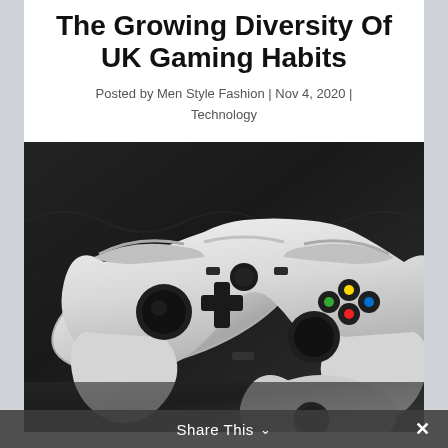The Growing Diversity Of UK Gaming Habits
Posted by Men Style Fashion | Nov 4, 2020 | Technology
[Figure (photo): Close-up photo of white Xbox game controllers placed together on a dark background, showing thumbsticks, d-pad, bumpers and colored buttons.]
Share This ∨  ✕